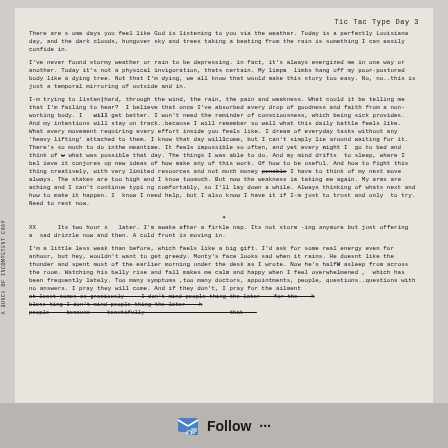Tic Tac Type Day 3
There are some days you feel like God is listening to you via the weather. Today is a perfectly Louisiana day, and the dark clouds, hungover sky and trees taking a beating from the rain is something I can easily confide in.
I've never found stormy weather or rain to be depressing. in fact, it's always energized me in one way or  another. Today it's not a physical invigoration, thats certain. My limps  limbs hang off my poor-postured body like a dying tree. Not that I'm dying, we all know that would make this story too easy. No, no..this is just a temporal mirroring of outside and in.
I-m trying to listen hard, through the wind, the rain, the pain and weakness. What could it be telling me that I'm failing to hear?  I believe that once I've absorbed every drop of goodness and faith from a non-working body. I   will get better. I won't need the reminder of consciousness, which being sick provides. And my intentions will stay on track..because I will remember so well what this daily battle feels like. What every movement requiring every effort inside you feels like. I dream of everyday tasks without any 'heavy lifting' attached to them. I know that day will come, but I can't simply lie around waiting for it. There's so much to do inthe meantime. It feels impossible so often, and yet every night I  go to bed and think of what was possible that day. The things I was able to do. And my mind drifts  to sleep, where I believe it conjures up new ideas of how make any of this work. Of how to be useful. And how to fight this thing creatively, with very limited resources and not much money I have to think of my next move always. The stakes are too high and I know too much. But now the weakness is taking me again. My arms are aching and I can't continue typing comfortably, so I'll lay down a while. Always thinking of whats next and how to make it happen. I  know I need help, but I also know I have it if I-m just to trust and only  to try. Need to rest now.
XX      Its two hours  later. I'm awake after a fickle nap. Its not storm-ing anymore but just offering a  sad drizzle now and then. A cold front is moving in.
I'm a little less weak than before, which feels like a big gift. I'd ask for some real energy even for an hour, but hey, wouldn't want to get greedy. Monty's face looks sad when it rains. He doesnt like the thunder and spent most of the earlier morning under the desk as I wrote. Now he's half asleep from across the room. Watching his belly rise and fall makes me calm and happy when I feel overwhelmened ,  which has been frequently lately. Too many symptoms ,too many doctors, appointments, people, questions..questions with no answers. I pray they will come. And if they don't, I pray for the ailment
Follow ...